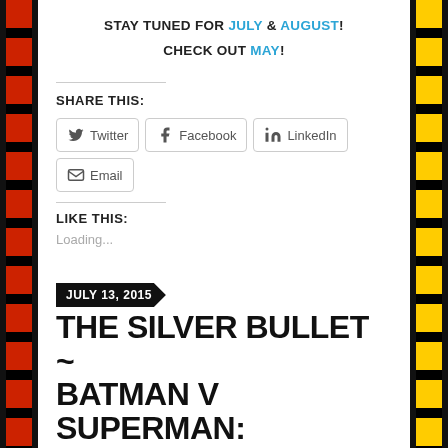STAY TUNED FOR JULY & AUGUST!
CHECK OUT MAY!
SHARE THIS:
Twitter | Facebook | LinkedIn | Email
LIKE THIS:
Loading...
JULY 13, 2015
THE SILVER BULLET ~ BATMAN V SUPERMAN: